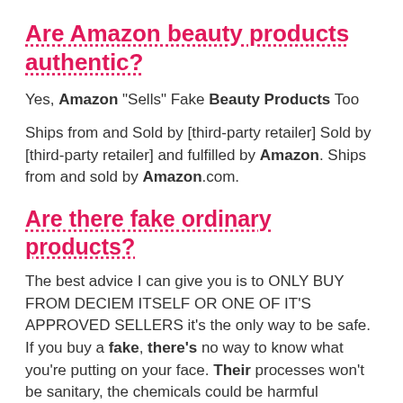Are Amazon beauty products authentic?
Yes, Amazon “Sells” Fake Beauty Products Too
Ships from and Sold by [third-party retailer] Sold by [third-party retailer] and fulfilled by Amazon. Ships from and sold by Amazon.com.
Are there fake ordinary products?
The best advice I can give you is to ONLY BUY FROM DECIEM ITSELF OR ONE OF IT’S APPROVED SELLERS it’s the only way to be safe. If you buy a fake, there’s no way to know what you’re putting on your face. Their processes won’t be sanitary, the chemicals could be harmful